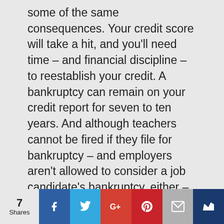some of the same consequences. Your credit score will take a hit, and you'll need time – and financial discipline – to reestablish your credit. A bankruptcy can remain on your credit report for seven to ten years. And although teachers cannot be fired if they file for bankruptcy – and employers aren't allowed to consider a job candidate's bankruptcy, either – it's still possible that you may encounter discrimination. If you do, it's not legal, and your bankruptcy lawyer will recommend the best way to deal with it.
7 Shares | Facebook | Twitter | Google+ | Pinterest | Email | Crown